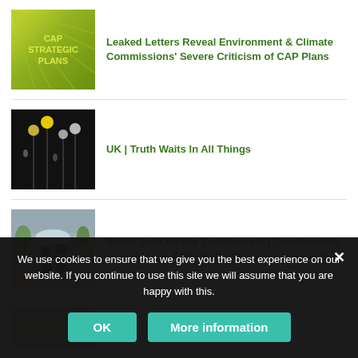[Figure (photo): CAP Strategic Plans logo with yellow-green radial background and yellow text]
Leaked Letters Reveal Environment & Climate Commissions' Severe Criticism of CAP Plans
[Figure (photo): Dark background with yellow/white flowers lit against black]
UK | Truth Waits In All Things
[Figure (photo): Two people with an umbrella outdoors at a European building]
Rain-Czech for the Environment | Spectacularly Unambitious 6 Month Presidency announced
[Figure (photo): Partially visible fourth article thumbnail]
We use cookies to ensure that we give you the best experience on our website. If you continue to use this site we will assume that you are happy with this.